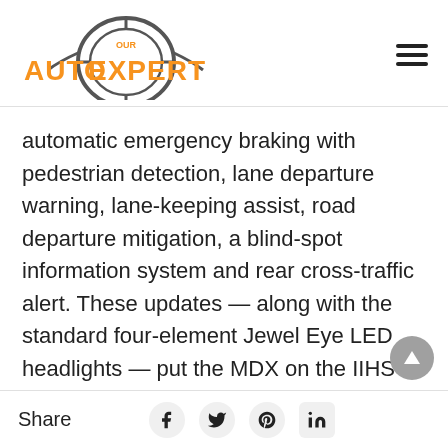[Figure (logo): Our Auto Expert logo with orange text and circular gear/tire graphic]
automatic emergency braking with pedestrian detection, lane departure warning, lane-keeping assist, road departure mitigation, a blind-spot information system and rear cross-traffic alert. These updates — along with the standard four-element Jewel Eye LED headlights — put the MDX on the IIHS Top
Share